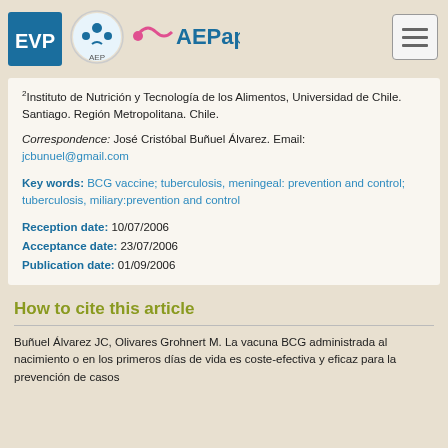EVP | AEP | AEPap [logos and navigation]
2Instituto de Nutrición y Tecnología de los Alimentos, Universidad de Chile. Santiago. Región Metropolitana. Chile.
Correspondence: José Cristóbal Buñuel Álvarez. Email: jcbunuel@gmail.com
Key words: BCG vaccine; tuberculosis, meningeal: prevention and control; tuberculosis, miliary:prevention and control
Reception date: 10/07/2006
Acceptance date: 23/07/2006
Publication date: 01/09/2006
How to cite this article
Buñuel Álvarez JC, Olivares Grohnert M. La vacuna BCG administrada al nacimiento o en los primeros días de vida es coste-efectiva y eficaz para la prevención de casos